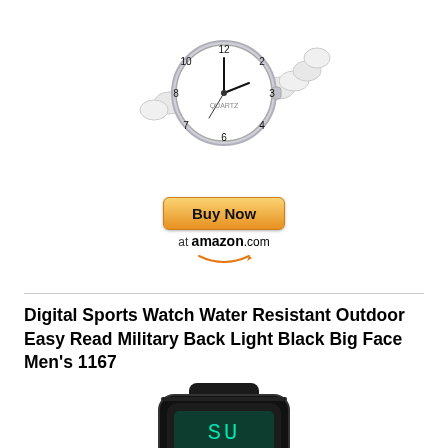[Figure (photo): A white chain-link strap analog quartz watch with silver case and white dial showing Arabic numerals]
[Figure (other): Buy Now at amazon.com button with orange gradient and Amazon smile logo]
Digital Sports Watch Water Resistant Outdoor Easy Read Military Back Light Black Big Face Men's 1167
[Figure (photo): A black digital sports watch with rubber strap showing SU on digital display, YSNE brand]